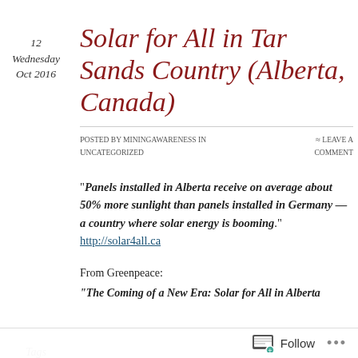12
Wednesday
Oct 2016
Solar for All in Tar Sands Country (Alberta, Canada)
Posted by miningawareness in Uncategorized
≈ Leave a comment
"Panels installed in Alberta receive on average about 50% more sunlight than panels installed in Germany — a country where solar energy is booming." http://solar4all.ca
Tags
Alberta Canada, Canada, Canadian Pipelines, clean
From Greenpeace:
"The Coming of a New Era: Solar for All in Alberta
Follow  ...